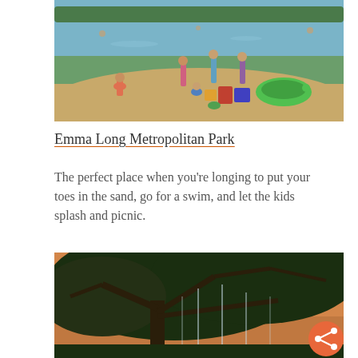[Figure (photo): Children playing on a sandy beach by a lake at Emma Long Metropolitan Park. Kids are playing in the sand near the water's edge, with colorful beach gear and an inflatable green turtle float visible.]
Emma Long Metropolitan Park
The perfect place when you’re longing to put your toes in the sand, go for a swim, and let the kids splash and picnic.
[Figure (photo): A large oak tree with sprawling branches photographed at dusk or dawn with a warm sky, water or glass panels hanging from branches, creating a serene park scene. An orange share button is visible in the bottom right corner.]